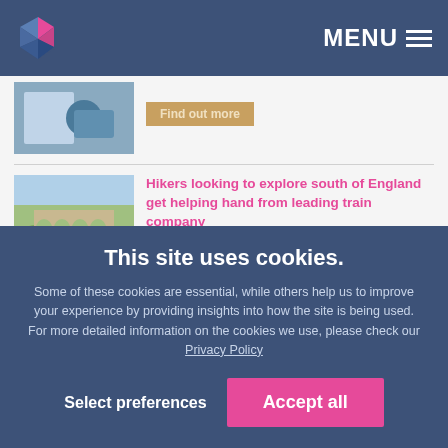MENU
[Figure (screenshot): Partial news item thumbnail showing product image, with a faded 'Find out more' orange button]
[Figure (photo): Aerial photo of a railway viaduct over green countryside]
Hikers looking to explore south of England get helping hand from leading train company
Find out more
[Figure (logo): Kreston Reeves logo — green K shape and black 'KRESTON' text]
Kreston Reeves commits to hybrid working arrangements and a new London hub
This site uses cookies.
Some of these cookies are essential, while others help us to improve your experience by providing insights into how the site is being used. For more detailed information on the cookies we use, please check our Privacy Policy
Select preferences
Accept all